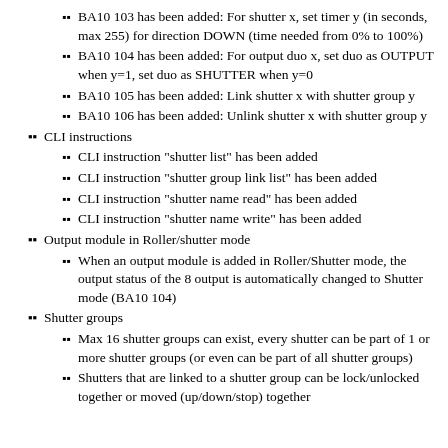BA10 103 has been added: For shutter x, set timer y (in seconds, max 255) for direction DOWN (time needed from 0% to 100%)
BA10 104 has been added: For output duo x, set duo as OUTPUT when y=1, set duo as SHUTTER when y=0
BA10 105 has been added: Link shutter x with shutter group y
BA10 106 has been added: Unlink shutter x with shutter group y
CLI instructions
CLI instruction "shutter list" has been added
CLI instruction "shutter group link list" has been added
CLI instruction "shutter name read" has been added
CLI instruction "shutter name write" has been added
Output module in Roller/shutter mode
When an output module is added in Roller/Shutter mode, the output status of the 8 output is automatically changed to Shutter mode (BA10 104)
Shutter groups
Max 16 shutter groups can exist, every shutter can be part of 1 or more shutter groups (or even can be part of all shutter groups)
Shutters that are linked to a shutter group can be lock/unlocked together or moved (up/down/stop) together